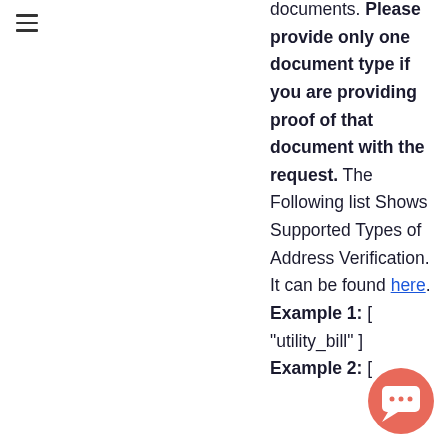≡
documents. Please provide only one document type if you are providing proof of that document with the request. The Following list Shows Supported Types of Address Verification. It can be found here. Example 1: [ "utility_bill" ] Example 2: [
[Figure (other): Chat support button (salmon/coral circle with white chat bubble icon)]